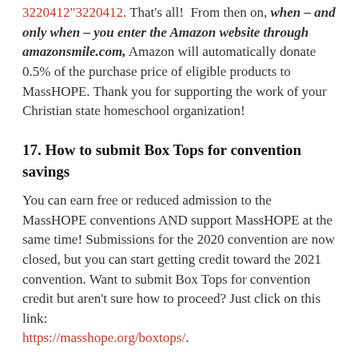3220412"3220412. That's all! From then on, when – and only when – you enter the Amazon website through amazonsmile.com, Amazon will automatically donate 0.5% of the purchase price of eligible products to MassHOPE. Thank you for supporting the work of your Christian state homeschool organization!
17. How to submit Box Tops for convention savings
You can earn free or reduced admission to the MassHOPE conventions AND support MassHOPE at the same time! Submissions for the 2020 convention are now closed, but you can start getting credit toward the 2021 convention. Want to submit Box Tops for convention credit but aren't sure how to proceed? Just click on this link: https://masshope.org/boxtops/.